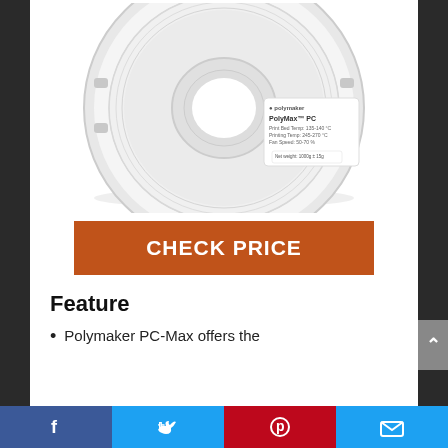[Figure (photo): A white spool of Polymaker PolyMax PC 3D printing filament on a white background]
CHECK PRICE
Feature
Polymaker PC-Max offers the
[Figure (other): Social media sharing bar with Facebook, Twitter, Pinterest, and Email icons]